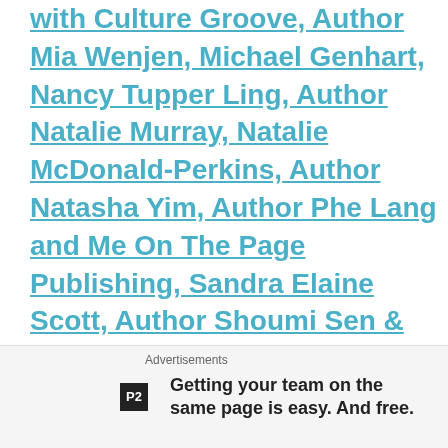with Culture Groove, Author Mia Wenjen, Michael Genhart, Nancy Tupper Ling, Author Natalie Murray, Natalie McDonald-Perkins, Author Natasha Yim, Author Phe Lang and Me On The Page Publishing, Sandra Elaine Scott, Author Shoumi Sen & From The Toddler Diaries, SISSY GOES TINY by Rebecca Flansburg and B.A. Norrgard, Susan Schaefer Bernardo & Illustrator Courtenay Fletcher, Tales of the Five Enchanted Mermaids, Author Theresa Mackiewicz, Tonya Duncan and the Sophie Washington Book Series, Author Toshia Stelivan, Valerie Williams-Sanchez & The Cocoa Kids Collection Books©. Author Vanessa
Advertisements
Getting your team on the same page is easy. And free.